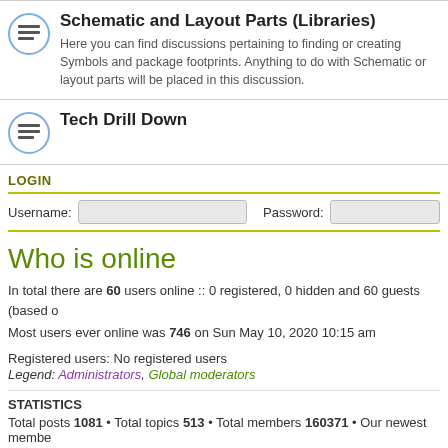Schematic and Layout Parts (Libraries)
Here you can find discussions pertaining to finding or creating Symbols and package footprints. Anything to do with Schematic or layout parts will be placed in this discussion.
Tech Drill Down
LOGIN
Username:  Password:
Who is online
In total there are 60 users online :: 0 registered, 0 hidden and 60 guests (based o...
Most users ever online was 746 on Sun May 10, 2020 10:15 am
Registered users: No registered users
Legend: Administrators, Global moderators
STATISTICS
Total posts 1081 • Total topics 513 • Total members 160371 • Our newest membe...